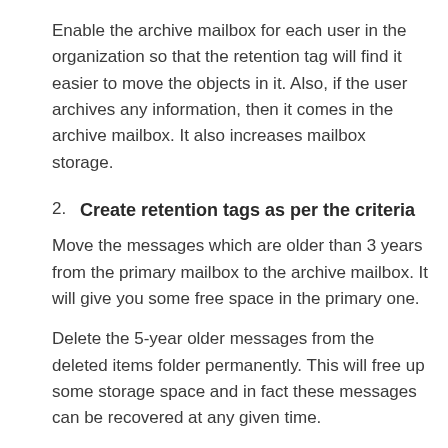Enable the archive mailbox for each user in the organization so that the retention tag will find it easier to move the objects in it. Also, if the user archives any information, then it comes in the archive mailbox. It also increases mailbox storage.
2. Create retention tags as per the criteria
Move the messages which are older than 3 years from the primary mailbox to the archive mailbox. It will give you some free space in the primary one.
Delete the 5-year older messages from the deleted items folder permanently. This will free up some storage space and in fact these messages can be recovered at any given time.
Permanently delete the 7-year older messages